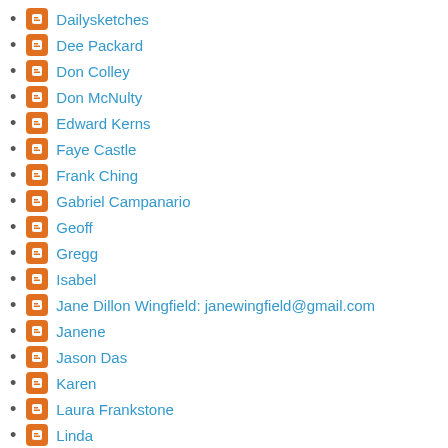Dailysketches
Dee Packard
Don Colley
Don McNulty
Edward Kerns
Faye Castle
Frank Ching
Gabriel Campanario
Geoff
Gregg
Isabel
Jane Dillon Wingfield: janewingfield@gmail.com
Janene
Jason Das
Karen
Laura Frankstone
Linda